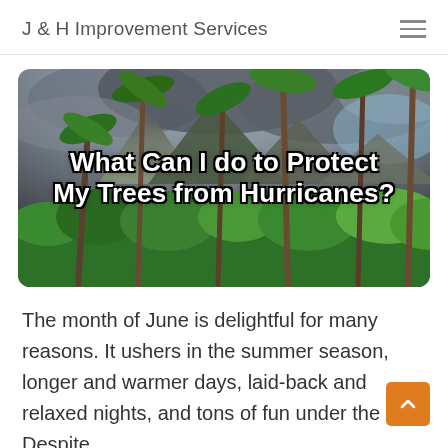J & H Improvement Services
[Figure (photo): Tropical jungle scene with tall palm trees and dramatic dark cloudy mountains in background. Overlaid bold white text: 'What Can I do to Protect My Trees from Hurricanes?']
The month of June is delightful for many reasons. It ushers in the summer season, longer and warmer days, laid-back and relaxed nights, and tons of fun under the sun. Despite